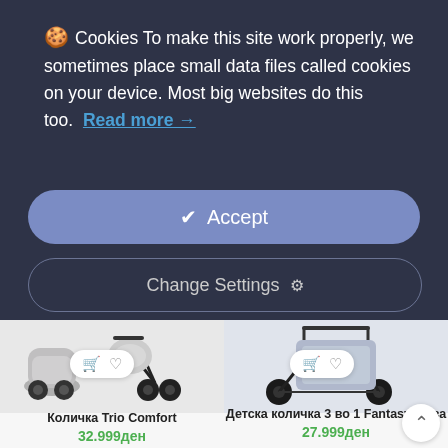🍪 Cookies To make this site work properly, we sometimes place small data files called cookies on your device. Most big websites do this too. Read more →
✔ Accept
Change Settings ⚙
[Figure (photo): Baby stroller product photo - Количка Trio Comfort]
Количка Trio Comfort
32.999ден
[Figure (photo): Baby stroller product photo - Детска количка 3 во 1 Fantasy, сива]
Детска количка 3 во 1 Fantasy, сива
27.999ден